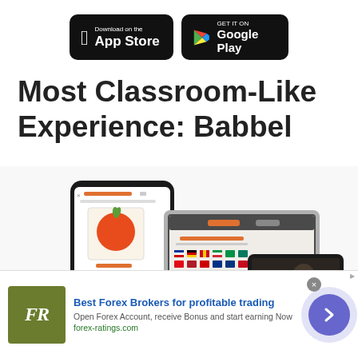[Figure (screenshot): App Store and Google Play download buttons on black rounded rectangle backgrounds]
Most Classroom-Like Experience: Babbel
[Figure (screenshot): Babbel app shown on smartphone, laptop, and tablet devices with language learning interface]
[Figure (screenshot): Advertisement banner: Best Forex Brokers for profitable trading - FR logo, forex-ratings.com]